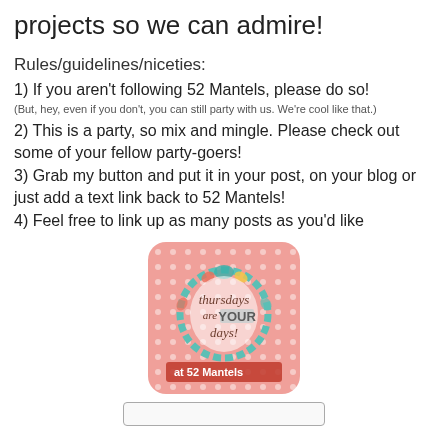projects so we can admire!
Rules/guidelines/niceties:
1) If you aren't following 52 Mantels, please do so!
(But, hey, even if you don't, you can still party with us. We're cool like that.)
2) This is a party, so mix and mingle. Please check out some of your fellow party-goers!
3) Grab my button and put it in your post, on your blog or just add a text link back to 52 Mantels!
4) Feel free to link up as many posts as you'd like
[Figure (logo): Badge with pink polka-dot background and wreath decoration reading 'thursdays are YOUR days! at 52 Mantels']
[Figure (other): Input button bar at bottom of page]